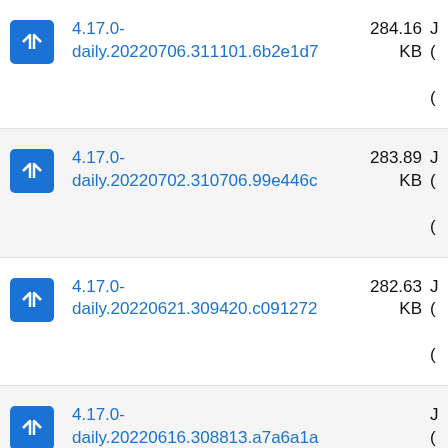4.17.0-daily.20220706.311101.6b2e1d7 284.16 KB
4.17.0-daily.20220702.310706.99e446c 283.89 KB
4.17.0-daily.20220621.309420.c091272 282.63 KB
4.17.0-daily.20220616.308813.a7a6a1a